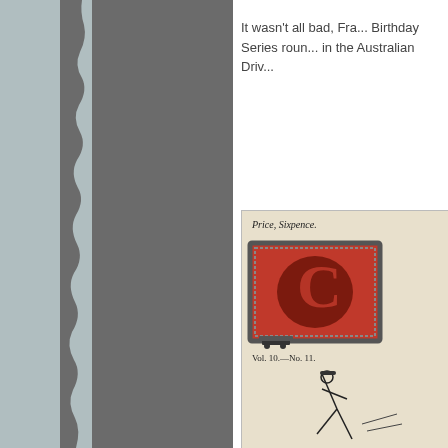[Figure (photo): Left portion of page showing a grey torn/shadowed area representing a scanned page edge or background]
It wasn't all bad, Fra... Birthday Series roun... in the Australian Driv...
[Figure (photo): A vintage magazine cover showing a large decorative red letter on cream background, with 'Price, Sixpence.' at top and 'Vol. 10—No. 11.' below the logo, and a figure at the bottom]